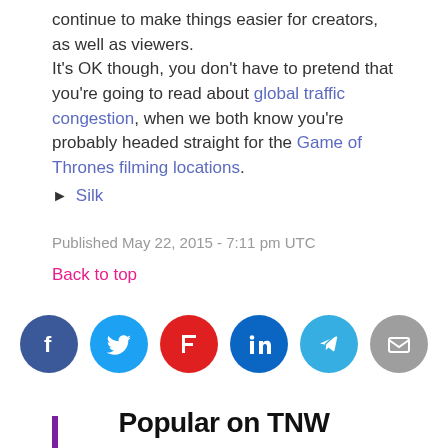continue to make things easier for creators, as well as viewers.
It's OK though, you don't have to pretend that you're going to read about global traffic congestion, when we both know you're probably headed straight for the Game of Thrones filming locations.
► Silk
Published May 22, 2015 - 7:11 pm UTC
Back to top
[Figure (infographic): Six social sharing icon circles: Facebook (blue), Twitter (light blue), Flipboard (red), LinkedIn (dark blue), Telegram (teal), Email (gray)]
Popular on TNW